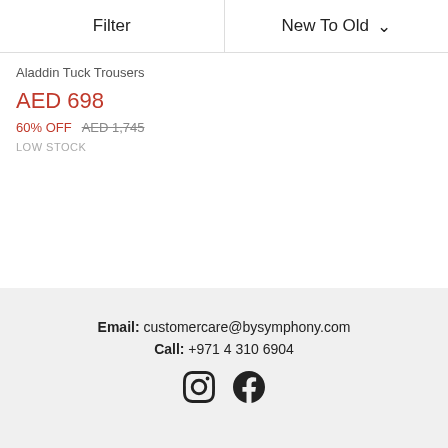Filter   New To Old
Aladdin Tuck Trousers
AED 698
60% OFF  AED 1,745
LOW STOCK
Email: customercare@bysymphony.com  Call: +971 4 310 6904